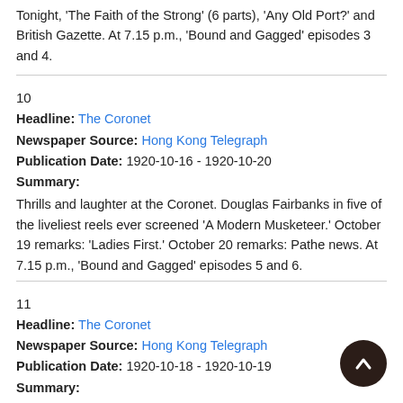Tonight, 'The Faith of the Strong' (6 parts), 'Any Old Port?' and British Gazette. At 7.15 p.m., 'Bound and Gagged' episodes 3 and 4.
10
Headline: The Coronet
Newspaper Source: Hong Kong Telegraph
Publication Date: 1920-10-16 - 1920-10-20
Summary:
Thrills and laughter at the Coronet. Douglas Fairbanks in five of the liveliest reels ever screened 'A Modern Musketeer.' October 19 remarks: 'Ladies First.' October 20 remarks: Pathe news. At 7.15 p.m., 'Bound and Gagged' episodes 5 and 6.
11
Headline: The Coronet
Newspaper Source: Hong Kong Telegraph
Publication Date: 1920-10-18 - 1920-10-19
Summary:
Douglas Fairbanks in five of the liveliest reels ever screened 'A Modern Musketeer.' Also 'Ladies First' and Pathe news. At 7.15